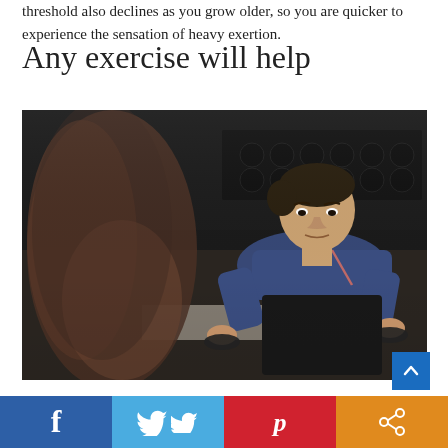threshold also declines as you grow older, so you are quicker to experience the sensation of heavy exertion.
Any exercise will help
[Figure (photo): A man doing push-ups on push-up handles in a gym, looking at the camera with intensity. A blurred figure is visible in the foreground.]
Social share bar with Facebook, Twitter, Pinterest, and Share buttons